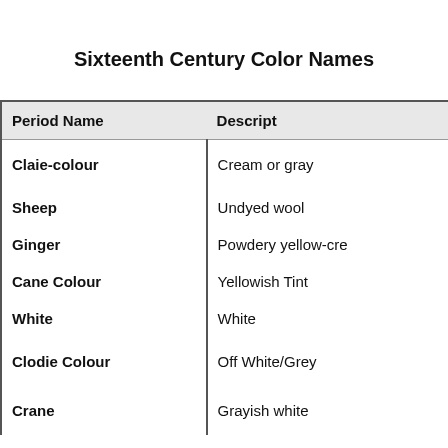Sixteenth Century Color Names
| Period Name | Description |
| --- | --- |
| Claie-colour | Cream or gray |
| Sheep | Undyed wool |
| Ginger | Powdery yellow-cre |
| Cane Colour | Yellowish Tint |
| White | White |
| Clodie Colour | Off White/Grey |
| Crane | Grayish white |